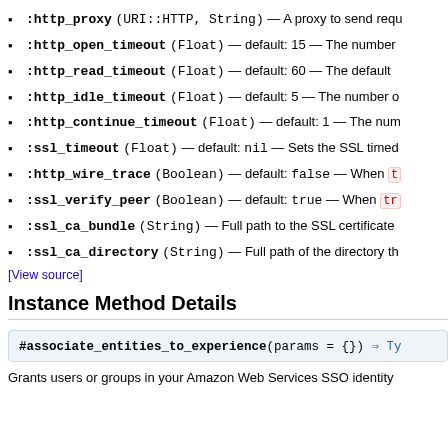:http_proxy (URI::HTTP, String) — A proxy to send requ
:http_open_timeout (Float) — default: 15 — The number
:http_read_timeout (Float) — default: 60 — The default
:http_idle_timeout (Float) — default: 5 — The number o
:http_continue_timeout (Float) — default: 1 — The num
:ssl_timeout (Float) — default: nil — Sets the SSL timed
:http_wire_trace (Boolean) — default: false — When t
:ssl_verify_peer (Boolean) — default: true — When tr
:ssl_ca_bundle (String) — Full path to the SSL certificate
:ssl_ca_directory (String) — Full path of the directory th
[View source]
Instance Method Details
#associate_entities_to_experience(params = {}) => Ty
Grants users or groups in your Amazon Web Services SSO identity